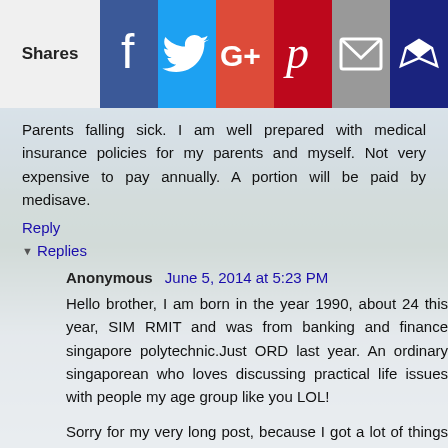[Figure (other): Social sharing bar with Facebook, Twitter, Google+, Pinterest, Email, and Crown/Feedly buttons, with a 'Shares' label on the left]
Parents falling sick. I am well prepared with medical insurance policies for my parents and myself. Not very expensive to pay annually. A portion will be paid by medisave.
Reply
Replies
Anonymous  June 5, 2014 at 5:23 PM
Hello brother, I am born in the year 1990, about 24 this year, SIM RMIT and was from banking and finance singapore polytechnic.Just ORD last year. An ordinary singaporean who loves discussing practical life issues with people my age group like you LOL!
Sorry for my very long post, because I got a lot of things to ask you, you are my SHIFU!
And have yet to eve start on my dream to accumulate the understandably difficult first barrier in climbing